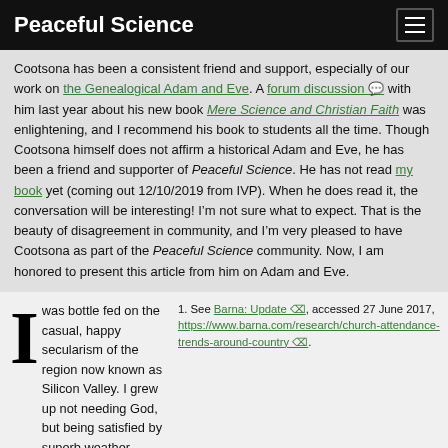Peaceful Science
Cootsona has been a consistent friend and support, especially of our work on the Genealogical Adam and Eve. A forum discussion with him last year about his new book Mere Science and Christian Faith was enlightening, and I recommend his book to students all the time. Though Cootsona himself does not affirm a historical Adam and Eve, he has been a friend and supporter of Peaceful Science. He has not read my book yet (coming out 12/10/2019 from IVP). When he does read it, the conversation will be interesting! I’m not sure what to expect. That is the beauty of disagreement in community, and I’m very pleased to have Cootsona as part of the Peaceful Science community. Now, I am honored to present this article from him on Adam and Eve.
1. See Barna: Update, accessed 27 June 2017, https://www.barna.com/research/church-attendance-trends-around-country.
I was bottle fed on the casual, happy secularism of the region now known as Silicon Valley. I grew up not needing God, but being satisfied by superb weather, comfortable